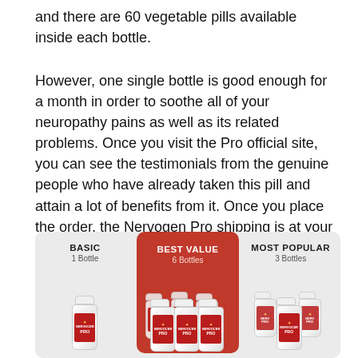and there are 60 vegetable pills available inside each bottle.
However, one single bottle is good enough for a month in order to soothe all of your neuropathy pains as well as its related problems. Once you visit the Pro official site, you can see the testimonials from the genuine people who have already taken this pill and attain a lot of benefits from it. Once you place the order, the Nervogen Pro shipping is at your doorstep.
[Figure (infographic): Pricing section with three product options: BASIC (1 Bottle), BEST VALUE (6 Bottles, highlighted in red), and MOST POPULAR (3 Bottles), each showing Nervogen Pro supplement bottles.]